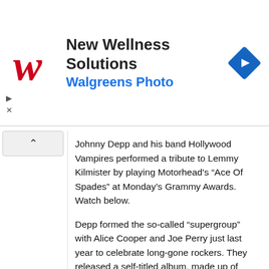[Figure (infographic): Walgreens advertisement banner with red cursive W logo, bold text 'New Wellness Solutions', blue subtitle 'Walgreens Photo', and a blue diamond-shaped navigation arrow icon on the right.]
Johnny Depp and his band Hollywood Vampires performed a tribute to Lemmy Kilmister by playing Motorhead's “Ace Of Spades” at Monday’s Grammy Awards. Watch below.
Depp formed the so-called “supergroup” with Alice Cooper and Joe Perry just last year to celebrate long-gone rockers. They released a self-titled album, made up of covers, this past September. That same month, the band gave its debut performance at the Roxy Theatre in Hollywood.
Now, taking the Grammys stage inside the Staples Center in Los Angeles, the Hollywood Vampires gave its first-ever television performance. The trio used their time in the spotlight to premiere a song